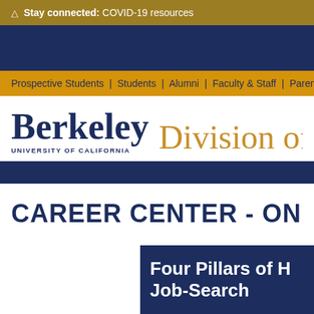⚠ Stay connected: COVID-19 resources
Prospective Students | Students | Alumni | Faculty & Staff | Parents & Family
[Figure (logo): UC Berkeley wordmark logo with 'Berkeley' in large serif navy text and 'UNIVERSITY OF CALIFORNIA' below in small caps, followed by 'Division of' in large gold serif text]
CAREER CENTER - ON CA
[Figure (screenshot): Dark navy image panel with white bold text reading 'Four Pillars of H Job-Search']